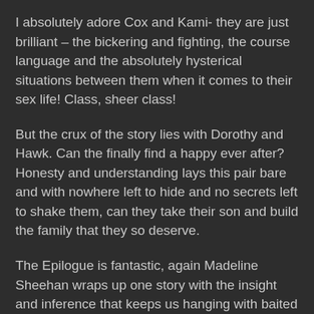I absolutely adore Cox and Kami- they are just brilliant – the bickering and fighting, the course language and the absolutely hysterical situations between them when it comes to their sex life! Class, sheer class!
But the crux of the story lies with Dorothy and Hawk. Can the finally find a happy ever after? Honesty and understanding lays this pair bare and with nowhere left to hide and no secrets left to shake them, can they take their son and build the family that they so deserve.
The Epilogue is fantastic, again Madeline Sheehan wraps up one story with the insight and inference that keeps us hanging with baited breath for the next book in this amazing series.
I have loved every single one of these books and each one for a different reason but with this, I love the fact that we got to see the normality of the MC.